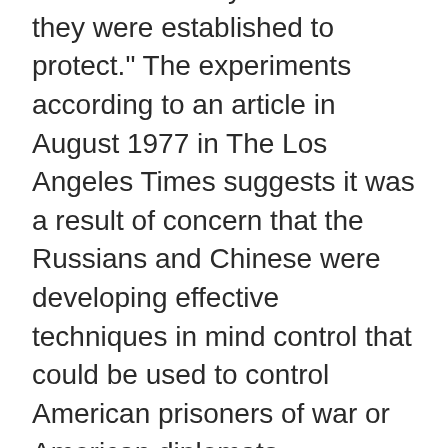secret intelligence agencies from becoming a threat to the very freedoms they were established to protect." The experiments according to an article in August 1977 in The Los Angeles Times suggests it was a result of concern that the Russians and Chinese were developing effective techniques in mind control that could be used to control American prisoners of war or American diplomats.
Sheryl suggests that listeners may go to the radio page of my website www.sherylglick.com to listen to Marie Delacorte author of Mind Wars A History of Mind Control Surveillance and Social Engineering to learn more about the use of troubling experiments began after World War 11 and the involvement of our government